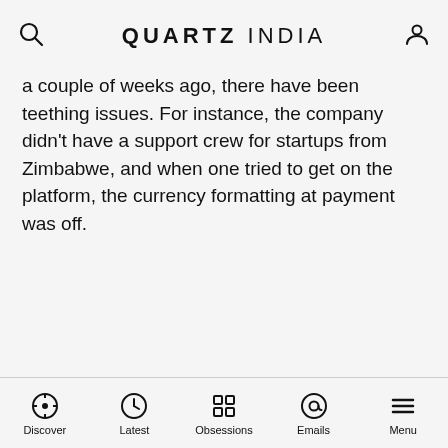QUARTZ INDIA
a couple of weeks ago, there have been teething issues. For instance, the company didn’t have a support crew for startups from Zimbabwe, and when one tried to get on the platform, the currency formatting at payment was off.
ADVERTISEMENT
Discover  Latest  Obsessions  Emails  Menu